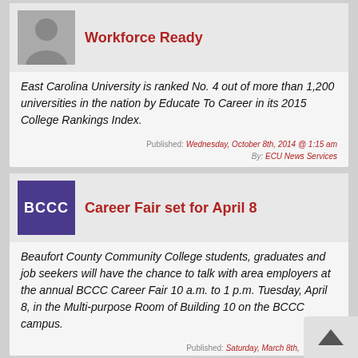Workforce Ready
East Carolina University is ranked No. 4 out of more than 1,200 universities in the nation by Educate To Career in its 2015 College Rankings Index.
Published: Wednesday, October 8th, 2014 @ 1:15 am
By: ECU News Services
Career Fair set for April 8
Beaufort County Community College students, graduates and job seekers will have the chance to talk with area employers at the annual BCCC Career Fair 10 a.m. to 1 p.m. Tuesday, April 8, in the Multi-purpose Room of Building 10 on the BCCC campus.
Published: Saturday, March 8th, pm